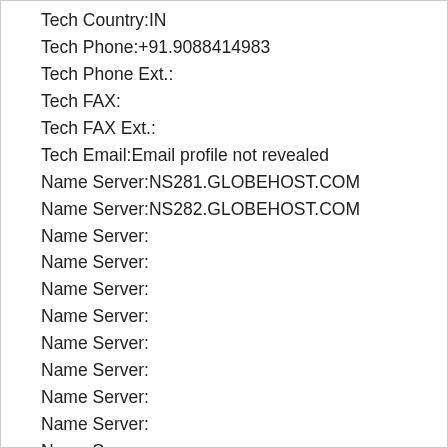Tech Country:IN
Tech Phone:+91.9088414983
Tech Phone Ext.:
Tech FAX:
Tech FAX Ext.:
Tech Email:Email profile not revealed
Name Server:NS281.GLOBEHOST.COM
Name Server:NS282.GLOBEHOST.COM
Name Server:
Name Server:
Name Server:
Name Server:
Name Server:
Name Server:
Name Server:
Name Server:
Name Server:
Name Server:
Name Server:
DNSSEC:Unsigned